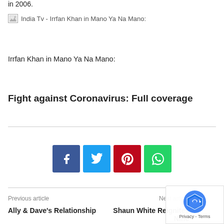in 2006.
[Figure (photo): Broken image placeholder for 'India Tv - Irrfan Khan in Mano Ya Na Mano:']
Irrfan Khan in Mano Ya Na Mano:
Fight against Coronavirus: Full coverage
[Figure (infographic): Social share buttons: Facebook (blue), Twitter (light blue), Pinterest (red), WhatsApp (green)]
Previous article
Ally & Dave's Relationship
Shaun White Reignites Nine